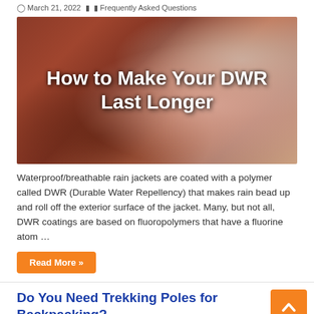March 21, 2022  Frequently Asked Questions
[Figure (photo): A rain jacket close-up with water beading on the red fabric, featuring overlay text: 'How to Make Your DWR Last Longer']
Waterproof/breathable rain jackets are coated with a polymer called DWR (Durable Water Repellency) that makes rain bead up and roll off the exterior surface of the jacket. Many, but not all, DWR coatings are based on fluoropolymers that have a fluorine atom …
Read More »
Do You Need Trekking Poles for Backpacking?